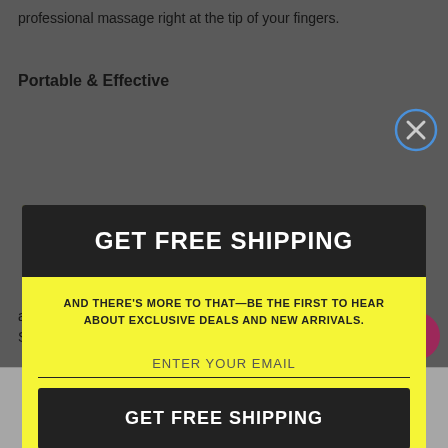professional massage right at the tip of your fingers.
Portable & Effective
GET FREE SHIPPING
AND THERE'S MORE TO THAT—BE THE FIRST TO HEAR ABOUT EXCLUSIVE DEALS AND NEW ARRIVALS.
ENTER YOUR EMAIL
GET FREE SHIPPING
Powered by omnisend
and moistarizes pores. Tap the power button t switch the mode. Smooth, soothe…
Shop  Wishlist 0  Cart 0  Account  Search